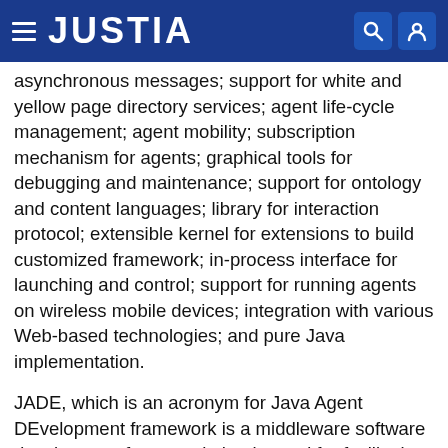JUSTIA
asynchronous messages; support for white and yellow page directory services; agent life-cycle management; agent mobility; subscription mechanism for agents; graphical tools for debugging and maintenance; support for ontology and content languages; library for interaction protocol; extensible kernel for extensions to build customized framework; in-process interface for launching and control; support for running agents on wireless mobile devices; integration with various Web-based technologies; and pure Java implementation.
JADE, which is an acronym for Java Agent DEvelopment framework is a middleware software development framework that is used for facilitating implementation of multi-agent systems. Specifically, the JADE platform includes functionality which facilitates the coordination of multiple agents, and functionality for facilitating the